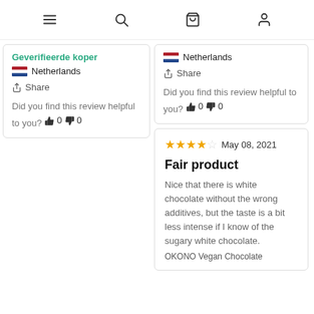Navigation icons: menu, search, cart, account
Geverifieerde koper
Netherlands
Share
Did you find this review helpful to you? 0 0
Netherlands
Share
Did you find this review helpful to you? 0 0
★★★★☆ May 08, 2021
Fair product
Nice that there is white chocolate without the wrong additives, but the taste is a bit less intense if I know of the sugary white chocolate.
OKONO Vegan Chocolate